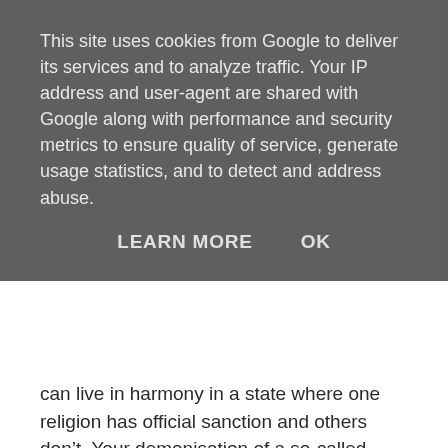This site uses cookies from Google to deliver its services and to analyze traffic. Your IP address and user-agent are shared with Google along with performance and security metrics to ensure quality of service, generate usage statistics, and to detect and address abuse.
LEARN MORE   OK
can live in harmony in a state where one religion has official sanction and others don't. Your demonisation of a so-called atheist/humanist/secularist agenda (whether that's to do with science vs. religion, rationality vs. irrationality, or whatever) is irrelevant to the issue of how people who have different but incompatible beliefs can live in harmony.
Nowhere in this thread have I espoused the idea that religion is the root of all evil. My concern is about whether what people believe is actually true, and how incompatible beliefs can be